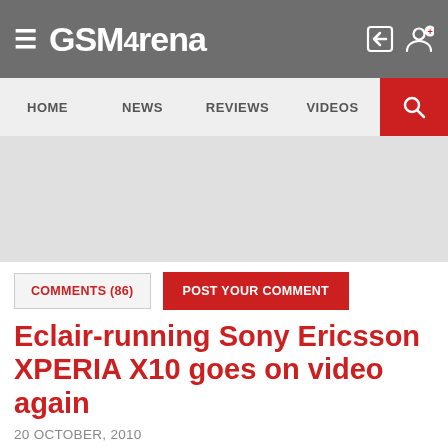GSMArena
HOME  NEWS  REVIEWS  VIDEOS
[Figure (other): Gray advertisement banner area]
COMMENTS (86)  POST YOUR COMMENT
Eclair-running Sony Ericsson XPERIA X10 goes on video again
20 OCTOBER, 2010
The Android 2.1 Eclair update for the Sony Ericsson XPERIA X10 is still cooking, but their product blog is letting us have another taste with another video of the new firmware running on an X10 and all the goodies...